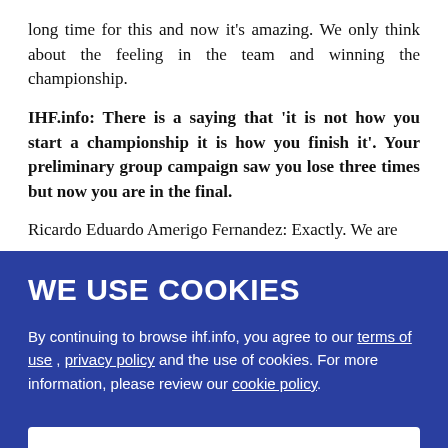long time for this and now it’s amazing. We only think about the feeling in the team and winning the championship.
IHF.info: There is a saying that ‘it is not how you start a championship it is how you finish it’. Your preliminary group campaign saw you lose three times but now you are in the final.
Ricardo Eduardo Amerigo Fernandez: Exactly. We are
[Figure (screenshot): Cookie consent banner with blue background, title 'WE USE COOKIES', body text about terms of use, privacy policy, and cookie policy links, and an 'I Accept' button.]